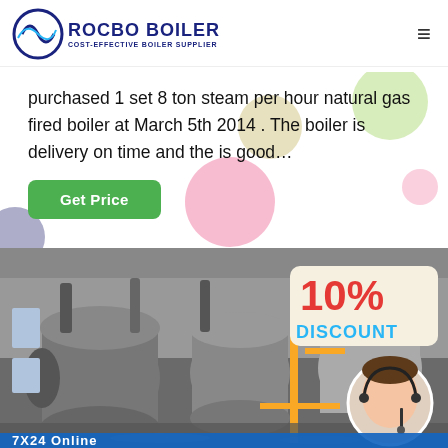ROCBO BOILER COST-EFFECTIVE BOILER SUPPLIER
purchased 1 set 8 ton steam per hour natural gas fired boiler at March 5th 2014 . The boiler is delivery on time and the is good…
Get Price
[Figure (photo): Industrial boiler room with large cylindrical gas-fired boilers, piping, and yellow pipework. Overlay shows 10% DISCOUNT badge and a customer service agent in a circular portrait. Bottom text reads '7X24 Online'.]